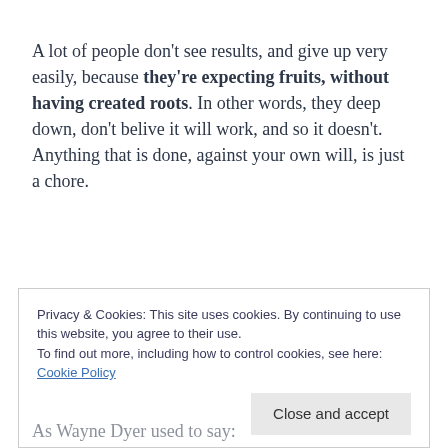A lot of people don't see results, and give up very easily, because they're expecting fruits, without having created roots. In other words, they deep down, don't belive it will work, and so it doesn't. Anything that is done, against your own will, is just a chore.
So yes, Manifestation Magic works, as long as
Privacy & Cookies: This site uses cookies. By continuing to use this website, you agree to their use.
To find out more, including how to control cookies, see here: Cookie Policy
As Wayne Dyer used to say: